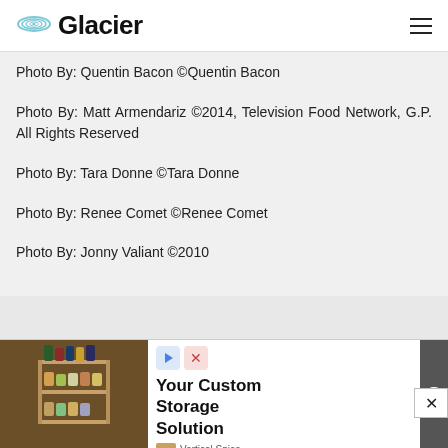Glacier
Photo By: Quentin Bacon ©Quentin Bacon
Photo By: Matt Armendariz ©2014, Television Food Network, G.P. All Rights Reserved
Photo By: Tara Donne ©Tara Donne
Photo By: Renee Comet ©Renee Comet
Photo By: Jonny Valiant ©2010
[Figure (photo): Advertisement banner showing a kitchen spice storage rack with text 'Your Custom Storage Solution' and branding for Vertical Spice]